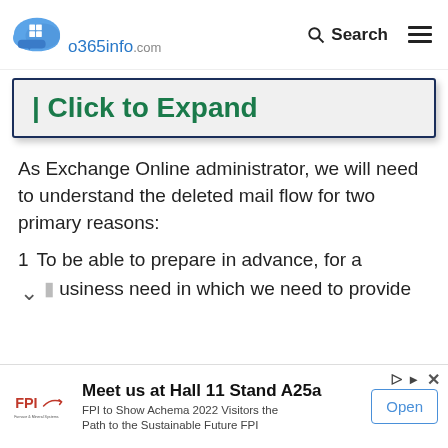o365info.com — Search navigation
[Figure (logo): o365info.com logo: blue cloud with white Windows grid icon and blue speech bubble, beside text 'o365info.com']
| Click to Expand
As Exchange Online administrator, we will need to understand the deleted mail flow for two primary reasons:
1. To be able to prepare in advance, for a business need in which we need to provide
[Figure (infographic): Advertisement banner: FPI logo, 'Meet us at Hall 11 Stand A25a', 'FPI to Show Achema 2022 Visitors the Path to the Sustainable Future FPI', Open button]